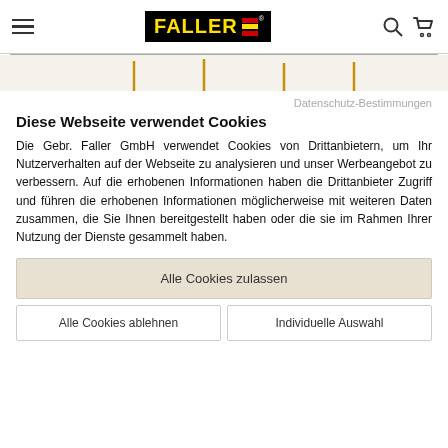[Figure (logo): Faller brand logo with black background, yellow text FALLER, and red/yellow horizontal stripes]
[Figure (infographic): Partial banner area with vertical orange/gold accent lines on light background]
Datenschutz-Bestimmungen
Diese Webseite verwendet Cookies
Die Gebr. Faller GmbH verwendet Cookies von Drittanbietern, um Ihr Nutzerverhalten auf der Webseite zu analysieren und unser Werbeangebot zu verbessern. Auf die erhobenen Informationen haben die Drittanbieter Zugriff und führen die erhobenen Informationen möglicherweise mit weiteren Daten zusammen, die Sie Ihnen bereitgestellt haben oder die sie im Rahmen Ihrer Nutzung der Dienste gesammelt haben.
Alle Cookies zulassen
Alle Cookies ablehnen
Individuelle Auswahl